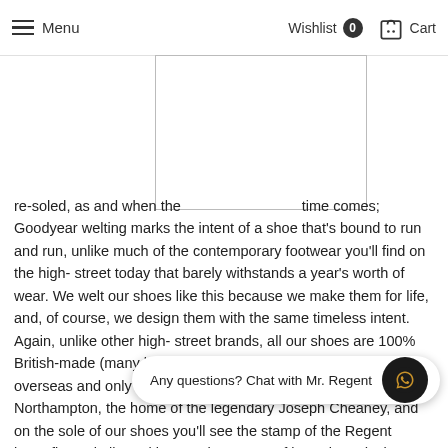Menu    Wishlist 0    Cart
[Figure (photo): Image placeholder box (partially visible product image)]
re-soled, as and when the time comes; Goodyear welting marks the intent of a shoe that's bound to run and run, unlike much of the contemporary footwear you'll find on the high-street today that barely withstands a year's worth of wear. We welt our shoes like this because we make them for life, and, of course, we design them with the same timeless intent. Again, unlike other high-street brands, all our shoes are 100% British-made (many brands claim this, whilst shipping parts from overseas and only assembling them in the UK). We make ours in Northampton, the home of the legendary Joseph Cheaney, and on the sole of our shoes you'll see the stamp of the Regent butterfly or skull, marking out the source of it's unique design. Regent has a tremendous relationship with Joseph Cheaney, something we're proud of and which sets us in great stead for the highest possible and remain at the forefront of the noble tradition of shoe and bootma and have even been recognised by royalty, awarded the Queen's award
Any questions? Chat with Mr. Regent